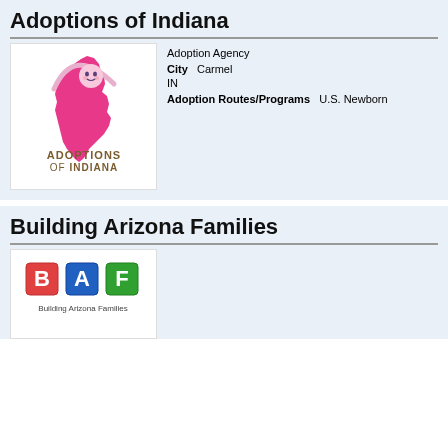Adoptions of Indiana
[Figure (logo): Adoptions of Indiana logo: pink Indiana state silhouette with baby face, text ADOPTIONS OF INDIANA below]
Adoption Agency
City  Carmel
IN
Adoption Routes/Programs  U.S. Newborn
Building Arizona Families
[Figure (logo): Building Arizona Families logo: colorful letter blocks B, A, F with text Building Arizona Families below]